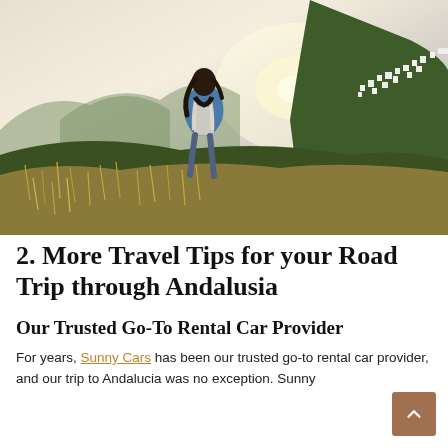[Figure (photo): A woman with a backpack seen from behind, standing on a hillside with tall dry grass, looking toward mountains and a white village on a hillside in the background, at sunset or golden hour. Lush green vegetation and dramatic mountain scenery.]
2. More Travel Tips for your Road Trip through Andalusia
Our Trusted Go-To Rental Car Provider
For years, Sunny Cars has been our trusted go-to rental car provider, and our trip to Andalucia was no exception. Sunny